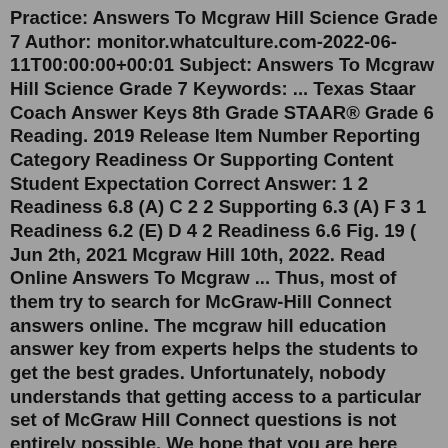Practice: Answers To Mcgraw Hill Science Grade 7 Author: monitor.whatculture.com-2022-06-11T00:00:00+00:01 Subject: Answers To Mcgraw Hill Science Grade 7 Keywords: ... Texas Staar Coach Answer Keys 8th Grade STAAR® Grade 6 Reading. 2019 Release Item Number Reporting Category Readiness Or Supporting Content Student Expectation Correct Answer: 1 2 Readiness 6.8 (A) C 2 2 Supporting 6.3 (A) F 3 1 Readiness 6.2 (E) D 4 2 Readiness 6.6 Fig. 19 ( Jun 2th, 2021 Mcgraw Hill 10th, 2022. Read Online Answers To Mcgraw ... Thus, most of them try to search for McGraw-Hill Connect answers online. The mcgraw hill education answer key from experts helps the students to get the best grades. Unfortunately, nobody understands that getting access to a particular set of McGraw Hill Connect questions is not entirely possible. We hope that you are here with the same concern.Grade 7 McGraw Hill Glencoe - Answer Keys. Chapter 1: Ratios and Proportional Reasoning; Chapter 2: Percents ... Where can I get Go Math Grade 7 Answer